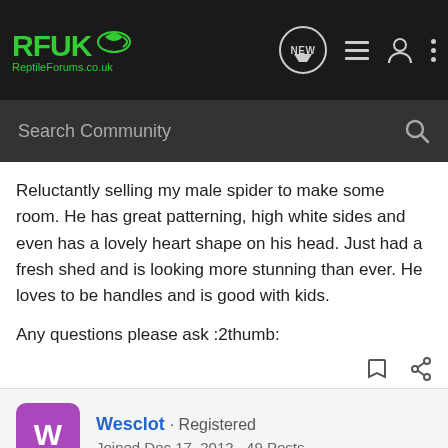RFUK ReptileForums.co.uk — navigation bar with NEW, list, user, and more icons
Search Community
Reluctantly selling my male spider to make some room. He has great patterning, high white sides and even has a lovely heart shape on his head. Just had a fresh shed and is looking more stunning than ever. He loves to be handles and is good with kids.
Any questions please ask :2thumb:
Wesclot · Registered
Joined Dec 17, 2012 · 49 Posts
Discussion Starter · #2 · Feb 20, 2013